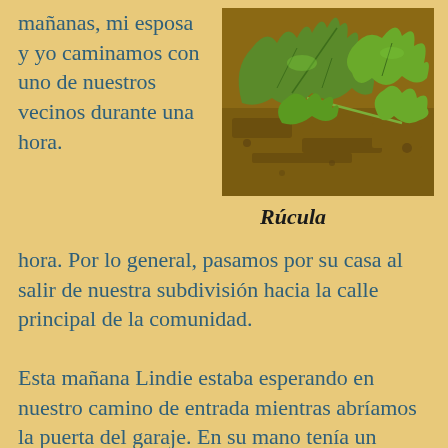mañanas, mi esposa y yo caminamos con uno de nuestros vecinos durante una hora. Por lo general, pasamos por su casa al salir de nuestra subdivisión hacia la calle principal de la comunidad.
[Figure (photo): Close-up photo of rucola (arugula) leaves growing in soil]
Rúcula
Esta mañana Lindie estaba esperando en nuestro camino de entrada mientras abríamos la puerta del garaje. En su mano tenía un montón de verduras.